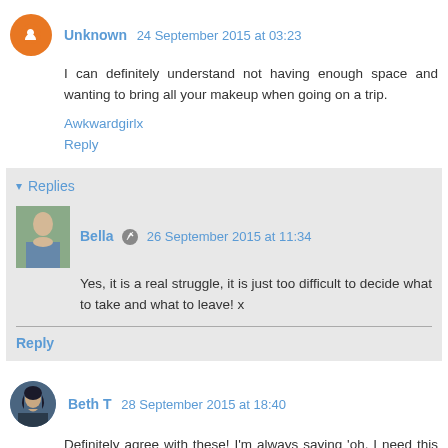Unknown  24 September 2015 at 03:23
I can definitely understand not having enough space and wanting to bring all your makeup when going on a trip.
Awkwardgirlx
Reply
▾ Replies
Bella  26 September 2015 at 11:34
Yes, it is a real struggle, it is just too difficult to decide what to take and what to leave! x
Reply
Beth T  28 September 2015 at 18:40
Definitely agree with these! I'm always saying 'oh, I need this for the blog!' as a way to justify buying extra beauty